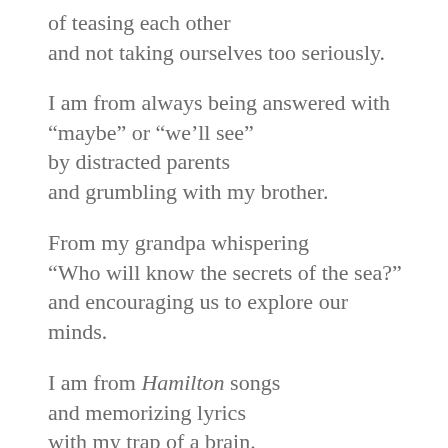of teasing each other
and not taking ourselves too seriously.
I am from always being answered with
“maybe” or “we’ll see”
by distracted parents
and grumbling with my brother.
From my grandpa whispering
“Who will know the secrets of the sea?”
and encouraging us to explore our
minds.
I am from Hamilton songs
and memorizing lyrics
with my trap of a brain.